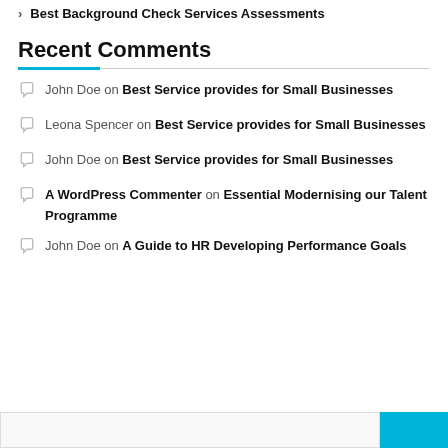> Best Background Check Services Assessments
Recent Comments
John Doe on Best Service provides for Small Businesses
Leona Spencer on Best Service provides for Small Businesses
John Doe on Best Service provides for Small Businesses
A WordPress Commenter on Essential Modernising our Talent Programme
John Doe on A Guide to HR Developing Performance Goals